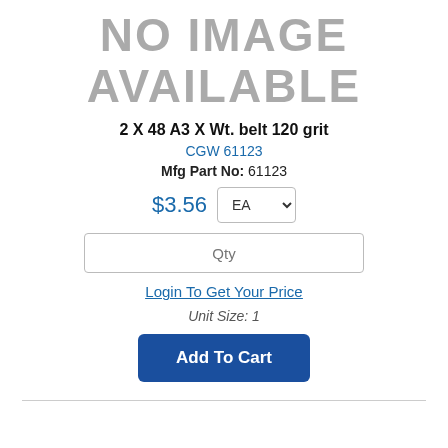[Figure (other): No image available placeholder with large grey text]
2 X 48 A3 X Wt. belt 120 grit
CGW 61123
Mfg Part No: 61123
$3.56  EA
Qty
Login To Get Your Price
Unit Size: 1
Add To Cart